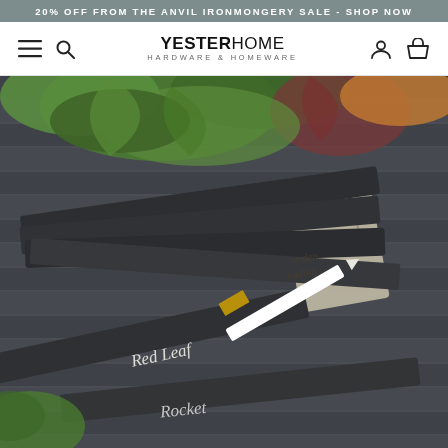20% OFF FROM THE ANVIL IRONMONGERY SALE - SHOP NOW
[Figure (logo): YesterHome Hardware & Homeware logo with hamburger menu, search, account and basket icons]
[Figure (photo): Slate garden plant markers/labels with chalk writing reading 'Red Leaf' and 'Rocket', arranged on a dark wooden surface alongside salad leaves and a chalk pencil with brass ferrule, and a linen bag labelled 'Garden Reading']